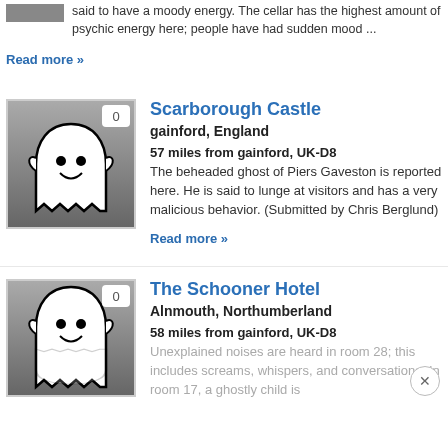said to have a moody energy. The cellar has the highest amount of psychic energy here; people have had sudden mood ...
Read more »
[Figure (illustration): Ghost icon placeholder image with grey gradient background]
Scarborough Castle
gainford, England
57 miles from gainford, UK-D8
The beheaded ghost of Piers Gaveston is reported here. He is said to lunge at visitors and has a very malicious behavior. (Submitted by Chris Berglund)
Read more »
[Figure (illustration): Ghost icon placeholder image with grey gradient background, partial view]
The Schooner Hotel
Alnmouth, Northumberland
58 miles from gainford, UK-D8
Unexplained noises are heard in room 28; this includes screams, whispers, and conversations. In room 17, a ghostly child is